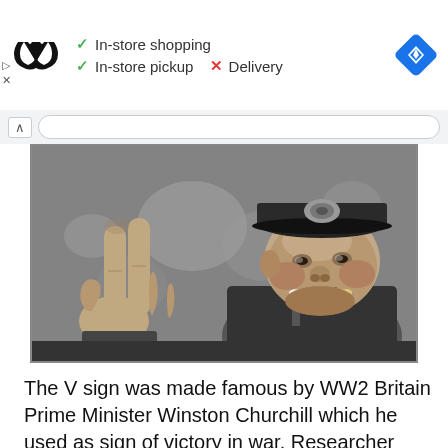[Figure (screenshot): Ad banner with Under Armour logo, checkmarks for In-store shopping and In-store pickup, red X for Delivery, and Google Maps navigation diamond icon]
[Figure (photo): Black and white photograph of Winston Churchill giving the V sign with his right hand while holding a cigar in his mouth, wearing a military cap with badge]
The V sign was made famous by WW2 Britain Prime Minister Winston Churchill which he used as sign of victory in war. Researcher Ste...